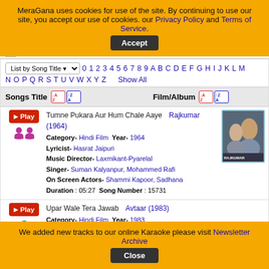MeraGana uses cookies for use of the site. By continuing to use our site, you accept our use of cookies. our Privacy Policy and Terms of Service. Accept
List by Song Title  0 1 2 3 4 5 6 7 8 9 A B C D E F G H I J K L M N O P Q R S T U V W X Y Z  Show All
| Songs Title | Film/Album |
| --- | --- |
| Tumne Pukara Aur Hum Chale Aaye | Category- Hindi Film Year- 1964 | Lyricist- Hasrat Jaipuri | Music Director- Laxmikant-Pyarelal | Singer- Suman Kalyanpur, Mohammed Rafi | On Screen Actors- Shammi Kapoor, Sadhana | Duration : 05:27  Song Number : 15731 | Rajkumar (1964) |
| Upar Wale Tera Jawab | Category- Hindi Film Year- 1983 | Avtaar (1983) |
We added new tracks to our online Karaoke please visit Newsletter Archive  Close